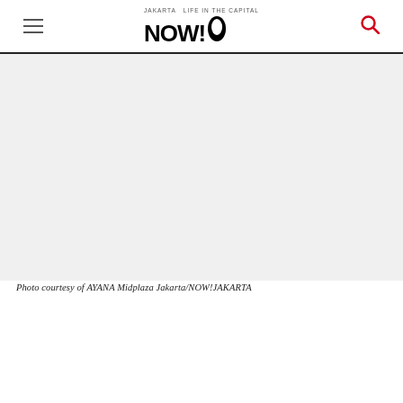Jakarta NOW! — Life in the Capital
[Figure (photo): Large photo area (image not loaded/visible), attributed to AYANA Midplaza Jakarta/NOW!JAKARTA]
Photo courtesy of AYANA Midplaza Jakarta/NOW!JAKARTA